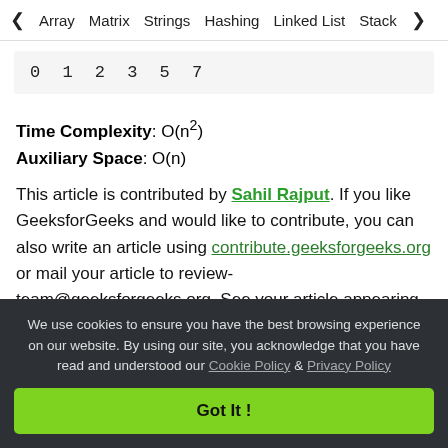< Array   Matrix   Strings   Hashing   Linked List   Stack >
[Figure (screenshot): Code output box showing: 0 1 2 3 5 7]
Time Complexity: O(n²)
Auxiliary Space: O(n)
This article is contributed by Sahil Rajput. If you like GeeksforGeeks and would like to contribute, you can also write an article using contribute.geeksforgeeks.org or mail your article to review-team@geeksforgeeks.org. See your article appearing on the GeeksforGeeks main
We use cookies to ensure you have the best browsing experience on our website. By using our site, you acknowledge that you have read and understood our Cookie Policy & Privacy Policy
Got It !